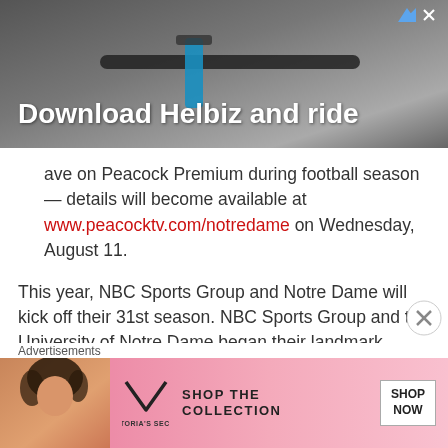[Figure (photo): Advertisement banner showing 'Download Helbiz and ride' with a scooter handle image]
ave on Peacock Premium during football season — details will become available at www.peacocktv.com/notredame on Wednesday, August 11.
This year, NBC Sports Group and Notre Dame will kick off their 31st season. NBC Sports Group and the University of Notre Dame began their landmark Notre Dame Football relationship in 1991 and have renewed the partnership numerous times. Peacock previously streamed the 2021 Blue Gold
Advertisements
[Figure (photo): Victoria's Secret advertisement: Shop The Collection — Shop Now]